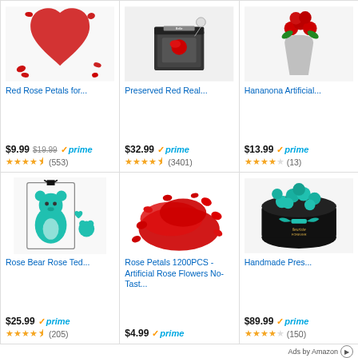[Figure (photo): Red rose petals arranged in a heart shape on white background]
Red Rose Petals for...
$9.99  $19.99  prime  ★★★★½ (553)
[Figure (photo): Preserved red real rose in a gift box with a necklace]
Preserved Red Real...
$32.99  prime  ★★★★½ (3401)
[Figure (photo): Hananona artificial red roses in a glass vase]
Hananona Artificial...
$13.99  prime  ★★★★ (13)
[Figure (photo): Teal rose bear teddy in a clear display box with ribbon]
Rose Bear Rose Ted...
$25.99  prime  ★★★★½ (205)
[Figure (photo): Red artificial rose petals scattered in a pile]
Rose Petals 1200PCS - Artificial Rose Flowers No-Tast...
$4.99  prime  (no stars shown)
[Figure (photo): Teal/turquoise preserved roses in a black round box with teal ribbon]
Handmade Pres...
$89.99  prime  ★★★★ (150)
Ads by Amazon ▷